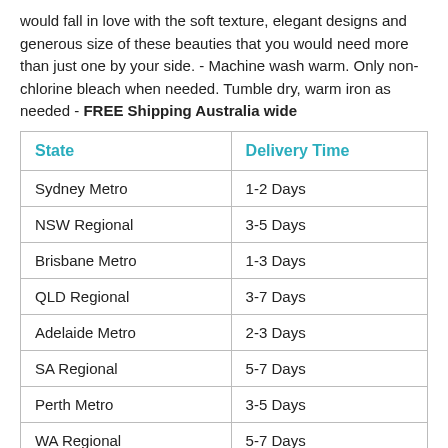would fall in love with the soft texture, elegant designs and generous size of these beauties that you would need more than just one by your side. - Machine wash warm. Only non-chlorine bleach when needed. Tumble dry, warm iron as needed - FREE Shipping Australia wide
| State | Delivery Time |
| --- | --- |
| Sydney Metro | 1-2 Days |
| NSW Regional | 3-5 Days |
| Brisbane Metro | 1-3 Days |
| QLD Regional | 3-7 Days |
| Adelaide Metro | 2-3 Days |
| SA Regional | 5-7 Days |
| Perth Metro | 3-5 Days |
| WA Regional | 5-7 Days |
| Melbourne Metro | 1-3 Days |
| VIC Regional | 3-7 Days |
| TAS | 5-7 Days |
| NT | 5-10 Days |